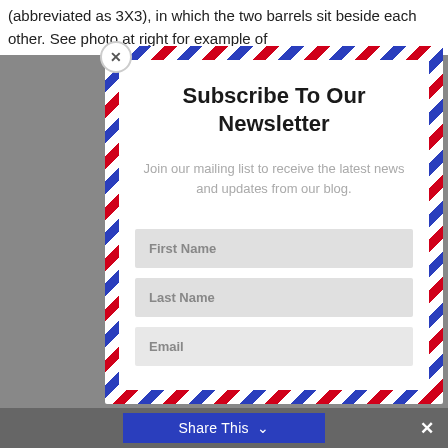(abbreviated as 3X3), in which the two barrels sit beside each other. See photo at right for example of
Subscribe To Our Newsletter
Join our mailing list to receive the latest news and updates from our blog.
First Name
Last Name
Email
Share This